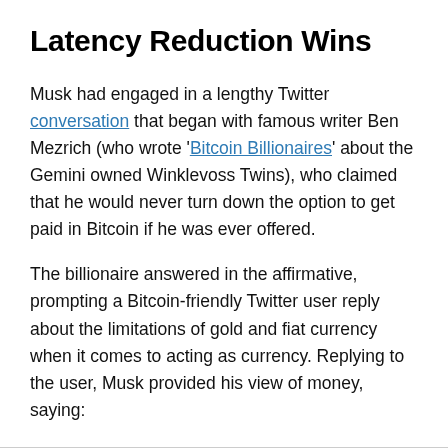Latency Reduction Wins
Musk had engaged in a lengthy Twitter conversation that began with famous writer Ben Mezrich (who wrote 'Bitcoin Billionaires' about the Gemini owned Winklevoss Twins), who claimed that he would never turn down the option to get paid in Bitcoin if he was ever offered.
The billionaire answered in the affirmative, prompting a Bitcoin-friendly Twitter user reply about the limitations of gold and fiat currency when it comes to acting as currency. Replying to the user, Musk provided his view of money, saying: